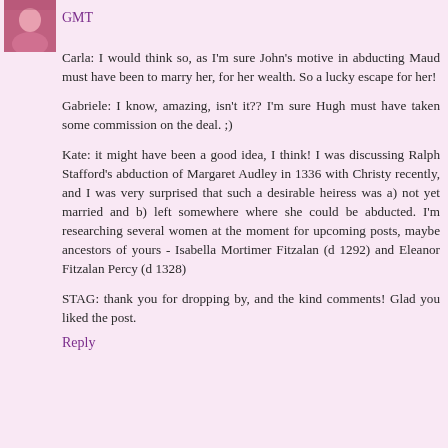GMT
Carla: I would think so, as I'm sure John's motive in abducting Maud must have been to marry her, for her wealth. So a lucky escape for her!
Gabriele: I know, amazing, isn't it?? I'm sure Hugh must have taken some commission on the deal. ;)
Kate: it might have been a good idea, I think! I was discussing Ralph Stafford's abduction of Margaret Audley in 1336 with Christy recently, and I was very surprised that such a desirable heiress was a) not yet married and b) left somewhere where she could be abducted. I'm researching several women at the moment for upcoming posts, maybe ancestors of yours - Isabella Mortimer Fitzalan (d 1292) and Eleanor Fitzalan Percy (d 1328)
STAG: thank you for dropping by, and the kind comments! Glad you liked the post.
Reply